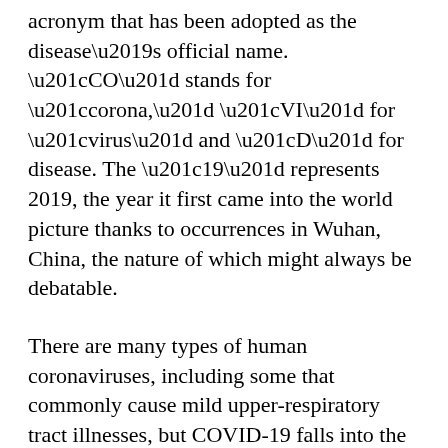acronym that has been adopted as the disease’s official name. “CO” stands for “corona,” “VI” for “virus” and “D” for disease. The “19” represents 2019, the year it first came into the world picture thanks to occurrences in Wuhan, China, the nature of which might always be debatable.
There are many types of human coronaviruses, including some that commonly cause mild upper-respiratory tract illnesses, but COVID-19 falls into the “novel” category, indicating it’s an entirely new version.
With the outbreak have come a variety of new terms used to describe situations never before considered by most people, let alone familiar.